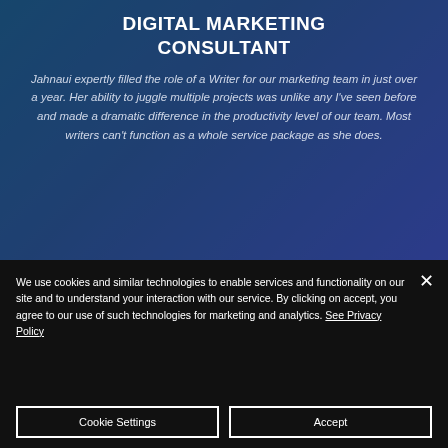DIGITAL MARKETING CONSULTANT
Jahnaui expertly filled the role of a Writer for our marketing team in just over a year. Her ability to juggle multiple projects was unlike any I've seen before and made a dramatic difference in the productivity level of our team. Most writers can't function as a whole service package as she does.
We use cookies and similar technologies to enable services and functionality on our site and to understand your interaction with our service. By clicking on accept, you agree to our use of such technologies for marketing and analytics. See Privacy Policy